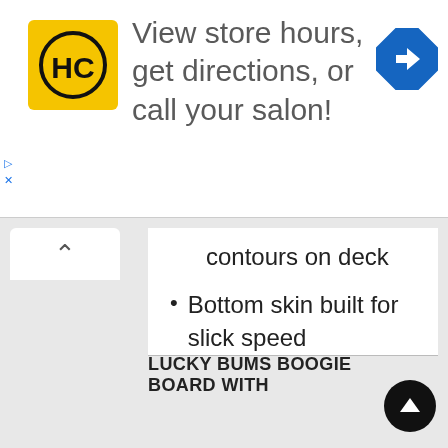[Figure (infographic): Advertisement banner with HC logo (yellow square with black HC text), text reading 'View store hours, get directions, or call your salon!', and a blue diamond-shaped navigation arrow icon on the right. Small play and X controls on the left side.]
contours on deck
Bottom skin built for slick speed
Channeled bottom
Crescent tail
LUCKY BUMS BOOGIE BOARD WITH